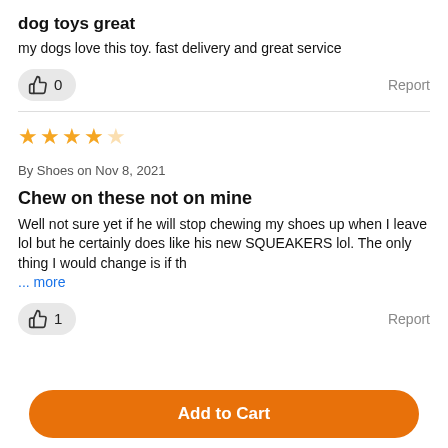dog toys great
my dogs love this toy. fast delivery and great service
👍 0   Report
★★★★☆ By Shoes on Nov 8, 2021
Chew on these not on mine
Well not sure yet if he will stop chewing my shoes up when I leave lol but he certainly does like his new SQUEAKERS lol. The only thing I would change is if th ... more
👍 1   Report
Add to Cart